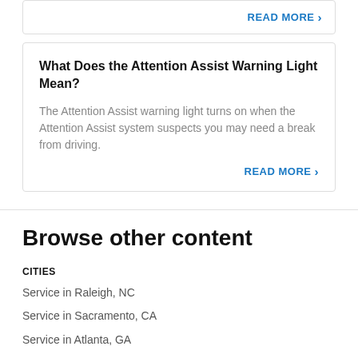READ MORE ›
What Does the Attention Assist Warning Light Mean?
The Attention Assist warning light turns on when the Attention Assist system suspects you may need a break from driving.
READ MORE ›
Browse other content
CITIES
Service in Raleigh, NC
Service in Sacramento, CA
Service in Atlanta, GA